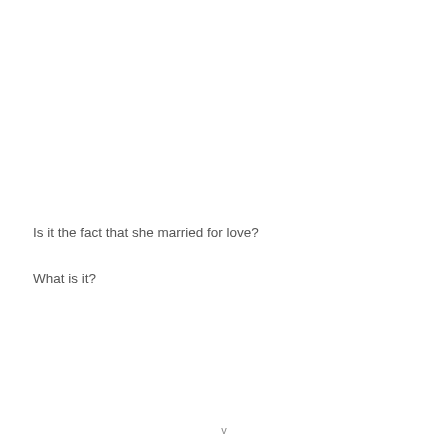Is it the fact that she married for love?
What is it?
v